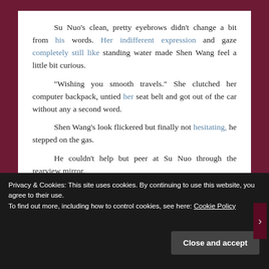Su Nuo's clean, pretty eyebrows didn't change a bit from his words. Her indifferent expression and gaze completely still like standing water made Shen Wang feel a little bit curious.
"Wishing you smooth travels." She clutched her computer backpack, untied her seat belt and got out of the car without any a second word.
Shen Wang's look flickered but finally not hesitating, he stepped on the gas.
He couldn't help but peer at Su Nuo through the rearview mirror.
The petite and delicate girl stood by the road with the vast expanse of the cliff looming behind her. Even if it was the stone hearted Shen Wang, seeing her like that, he couldn't help but
Privacy & Cookies: This site uses cookies. By continuing to use this website, you agree to their use.
To find out more, including how to control cookies, see here: Cookie Policy
Close and accept